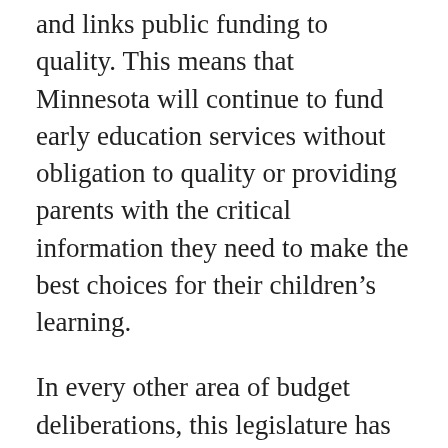and links public funding to quality. This means that Minnesota will continue to fund early education services without obligation to quality or providing parents with the critical information they need to make the best choices for their children's learning.
In every other area of budget deliberations, this legislature has been rightfully demanding accountability in spending, but they are taking a pass on this one.
“What the legislature did in the dark hours of last night was tighten the blindfold over Minnesota preschool parents’ eyes,” MinnCAN Executive Director Vallay Varro said. “If the legislature is serious about closing the achievement gap then